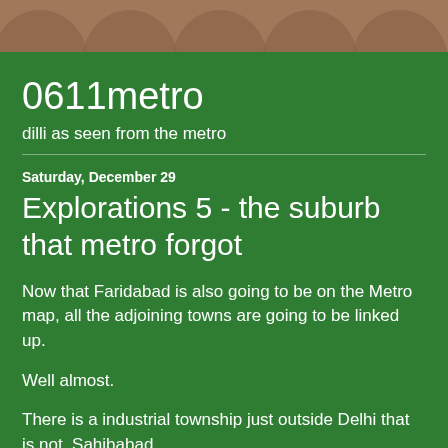[Figure (illustration): Decorative header banner with brown background and arch/dome shapes]
0611metro
dilli as seen from the metro
Saturday, December 29
Explorations 5 - the suburb that metro forgot
Now that Faridabad is also going to be on the Metro map, all the adjoining towns are going to be linked up.
Well almost.
There is a industrial township just outside Delhi that is not. Sahibabad.
Many decades ago, as factories began to spring up just beyond Shahdara on the highway to Meerut, no one thought that this will do into a large suburb. Last week as I had to go